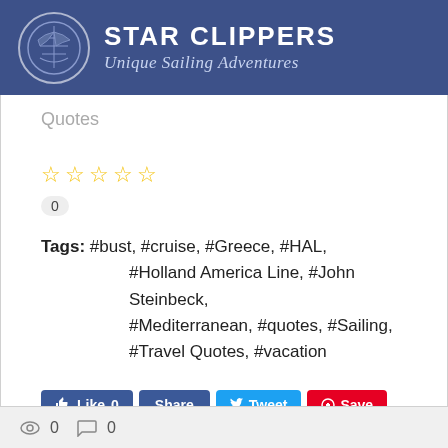STAR CLIPPERS Unique Sailing Adventures
Quotes
★★★★★ 0
Tags: #bust, #cruise, #Greece, #HAL, #Holland America Line, #John Steinbeck, #Mediterranean, #quotes, #Sailing, #Travel Quotes, #vacation
Like 0  Share  Tweet  Save  0
0  0